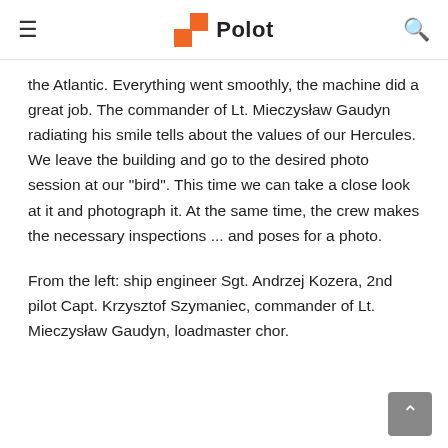Polot
the Atlantic. Everything went smoothly, the machine did a great job. The commander of Lt. Mieczysław Gaudyn radiating his smile tells about the values of our Hercules. We leave the building and go to the desired photo session at our "bird". This time we can take a close look at it and photograph it. At the same time, the crew makes the necessary inspections ... and poses for a photo.
From the left: ship engineer Sgt. Andrzej Kozera, 2nd pilot Capt. Krzysztof Szymaniec, commander of Lt. Mieczysław Gaudyn, loadmaster chor.